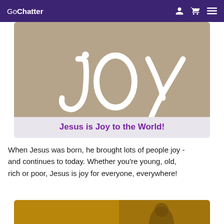GoChatter
[Figure (photo): Tan/kraft paper background with white brush-script word 'joy' written in large cursive lettering]
Jesus is Joy to the World!
When Jesus was born, he brought lots of people joy - and continues to today. Whether you're young, old, rich or poor, Jesus is joy for everyone, everywhere!
[Figure (photo): Gold/mustard background with large white bold text reading 'GOD WITH US' and a partial photo of a person]